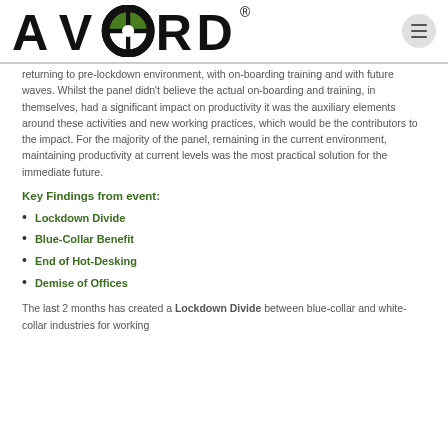AVORD®
returning to pre-lockdown environment, with on-boarding training and with future waves. Whilst the panel didn't believe the actual on-boarding and training, in themselves, had a significant impact on productivity it was the auxiliary elements around these activities and new working practices, which would be the contributors to the impact. For the majority of the panel, remaining in the current environment, maintaining productivity at current levels was the most practical solution for the immediate future.
Key Findings from event:
Lockdown Divide
Blue-Collar Benefit
End of Hot-Desking
Demise of Offices
The last 2 months has created a Lockdown Divide between blue-collar and white-collar industries for working...